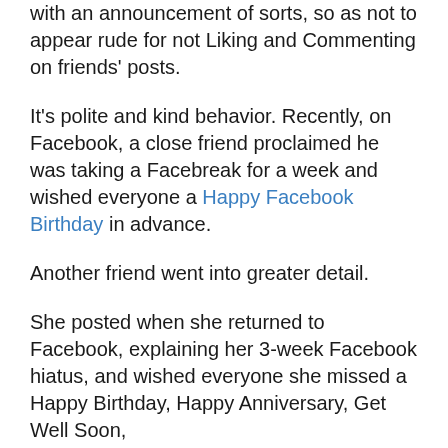with an announcement of sorts, so as not to appear rude for not Liking and Commenting on friends' posts.
It's polite and kind behavior. Recently, on Facebook, a close friend proclaimed he was taking a Facebreak for a week and wished everyone a Happy Facebook Birthday in advance.
Another friend went into greater detail.
She posted when she returned to Facebook, explaining her 3-week Facebook hiatus, and wished everyone she missed a Happy Birthday, Happy Anniversary, Get Well Soon,